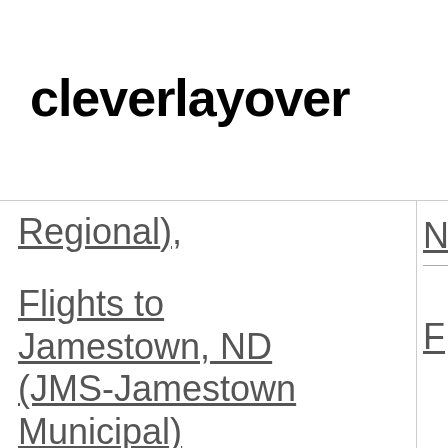cleverlayover
Regional),
Flights to Jamestown, ND (JMS-Jamestown Municipal)
Flights to